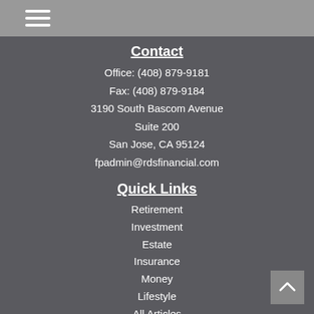[Figure (other): Hamburger menu icon with three horizontal white lines on a gray background]
Contact
Office: (408) 879-9181
Fax: (408) 879-9184
3190 South Bascom Avenue
Suite 200
San Jose, CA 95124
fpadmin@rdsfinancial.com
Quick Links
Retirement
Investment
Estate
Insurance
Money
Lifestyle
All Articles
All Videos
All Calculators
All Presentations